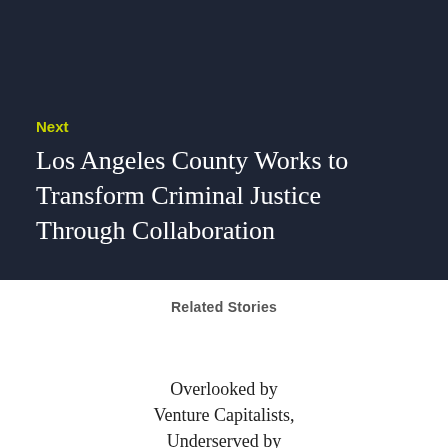Next
Los Angeles County Works to Transform Criminal Justice Through Collaboration
Related Stories
Overlooked by Venture Capitalists, Underserved by